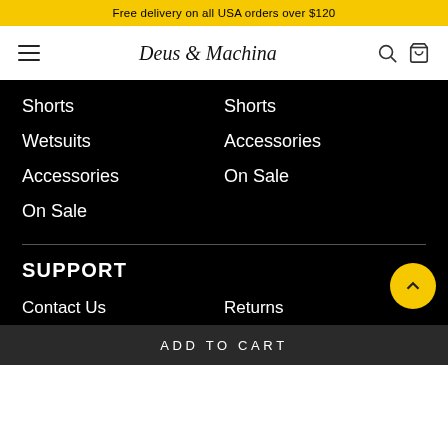Free delivery on all USA orders over $120
[Figure (screenshot): Deus Ex Machina navigation bar with hamburger menu, logo, search icon, and cart icon]
Shorts
Wetsuits
Accessories
On Sale
Shorts
Accessories
On Sale
SUPPORT
Contact Us
Returns
Shipping
Cookie Policy
ADD TO CART